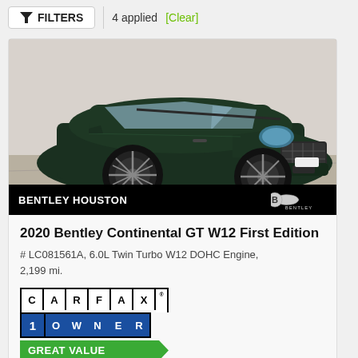FILTERS | 4 applied [Clear]
[Figure (photo): Dark green 2020 Bentley Continental GT W12 First Edition luxury coupe photographed in a garage/showroom setting, three-quarter front view. Dealer banner at bottom reads BENTLEY HOUSTON with Bentley logo.]
2020 Bentley Continental GT W12 First Edition
# LC081561A, 6.0L Twin Turbo W12 DOHC Engine, 2,199 mi.
[Figure (logo): CARFAX 1 OWNER badge and GREAT VALUE badge]